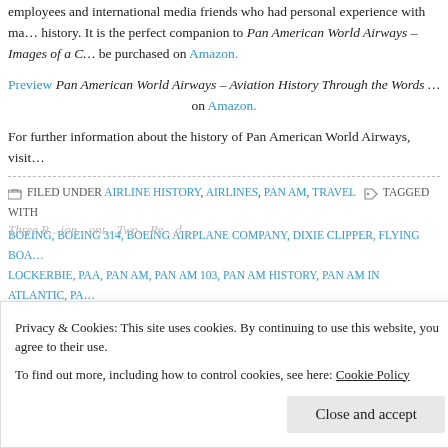employees and international media friends who had personal experience with man... history. It is the perfect companion to Pan American World Airways – Images of a C... be purchased on Amazon.
Preview Pan American World Airways – Aviation History Through the Words ... on Amazon.
For further information about the history of Pan American World Airways, visit...
FILED UNDER AIRLINE HISTORY, AIRLINES, PAN AM, TRAVEL  TAGGED WITH BOEING, BOEING 314, BOEING AIRPLANE COMPANY, DIXIE CLIPPER, FLYING BOAT, LOCKERBIE, PAA, PAN AM, PAN AM 103, PAN AM HISTORY, PAN AM IN ATLANTIC, PA... WAR TWO, PAN AMERICAN WORLD AIRWAYS, TENERIFE, TRANSPORTATION, UNIT... CLIPPER
Privacy & Cookies: This site uses cookies. By continuing to use this website, you agree to their use. To find out more, including how to control cookies, see here: Cookie Policy